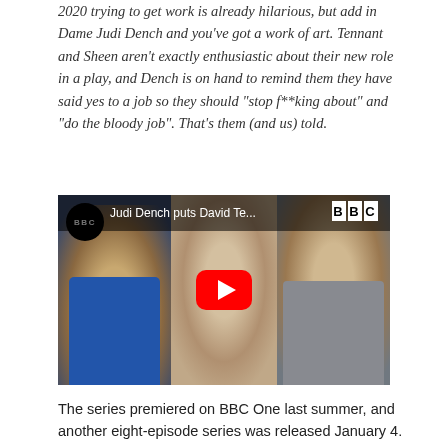2020 trying to get work is already hilarious, but add in Dame Judi Dench and you've got a work of art. Tennant and Sheen aren't exactly enthusiastic about their new role in a play, and Dench is on hand to remind them they have said yes to a job so they should "stop f**king about" and "do the bloody job". That's them (and us) told.
[Figure (screenshot): YouTube video thumbnail showing Michael Sheen (left, blue shirt, grey beard), Judi Dench (center), and David Tennant (right, grey hoodie). BBC logo visible top-left and top-right. Title reads 'Judi Dench puts David Te...' Red YouTube play button in center.]
The series premiered on BBC One last summer, and another eight-episode series was released January 4. The first series synopsis is —